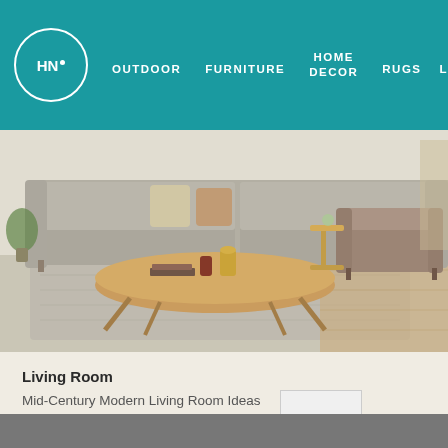HN· OUTDOOR   FURNITURE   HOME DECOR   RUGS   L
[Figure (photo): Living room interior with mid-century modern furniture: grey sofa with pillows, oval wooden coffee table with books and vases, armchair, side table, and area rug on wood-look flooring]
Living Room
Mid-Century Modern Living Room Ideas
[Figure (other): TOP navigation button with upward chevron arrow]